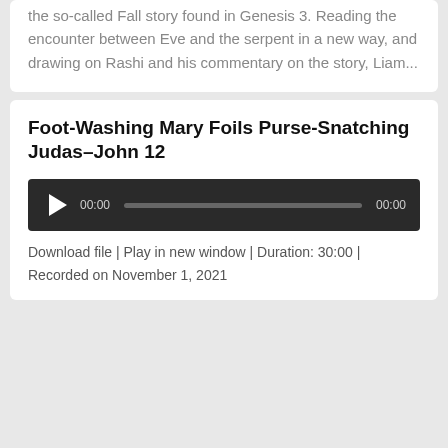the so-called Fall story found in Genesis 3. Reading the encounter between Eve and the serpent in a new way, and drawing on Rashi and his commentary on the story, Liam...
Foot-Washing Mary Foils Purse-Snatching Judas–John 12
[Figure (other): Audio player with play button, 00:00 time start, progress bar, and 00:00 time end on dark background]
Download file | Play in new window | Duration: 30:00 | Recorded on November 1, 2021